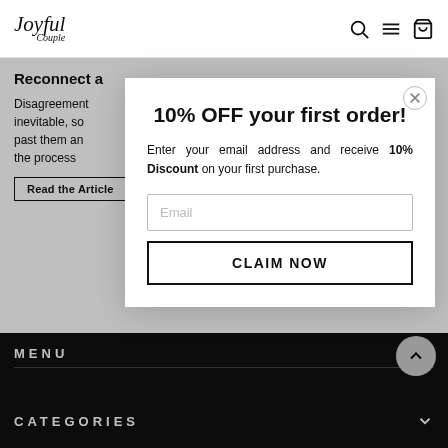Joyful Couple
Reconnect a
Disagreements inevitable, so past them an the process
Read the Article
10% OFF your first order!
Enter your email address and receive 10% Discount on your first purchase.
CLAIM NOW
MENU   CATEGORIES